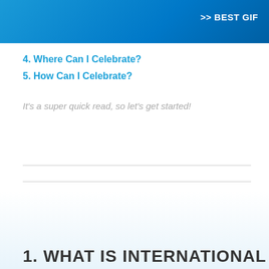>> BEST GIF
4. Where Can I Celebrate?
5. How Can I Celebrate?
It's a super quick read, so let's get started!
1. WHAT IS INTERNATIONAL